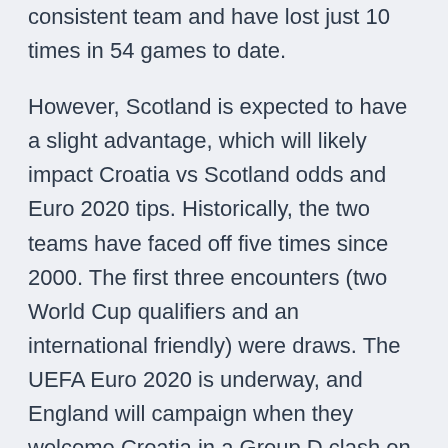consistent team and have lost just 10 times in 54 games to date.
However, Scotland is expected to have a slight advantage, which will likely impact Croatia vs Scotland odds and Euro 2020 tips. Historically, the two teams have faced off five times since 2000. The first three encounters (two World Cup qualifiers and an international friendly) were draws. The UEFA Euro 2020 is underway, and England will campaign when they welcome Croatia in a Group D clash on Sunday. England have become an extremely consistent team and have lost just 10 times in 54 games to date.
Jun 08, 2021 · Fans attending England's Euro 2020 group